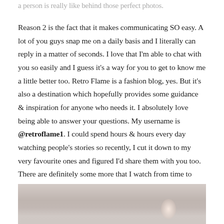a person is really like behind those perfect photos.
Reason 2 is the fact that it makes communicating SO easy. A lot of you guys snap me on a daily basis and I literally can reply in a matter of seconds. I love that I'm able to chat with you so easily and I guess it's a way for you to get to know me a little better too. Retro Flame is a fashion blog, yes. But it's also a destination which hopefully provides some guidance & inspiration for anyone who needs it. I absolutely love being able to answer your questions. My username is @retroflame1. I could spend hours & hours every day watching people's stories so recently, I cut it down to my very favourite ones and figured I'd share them with you too. There are definitely some more that I watch from time to time, but here are the snapchatters I just won't miss…
[Figure (photo): Blurry close-up photo, appears to show a face or person, soft warm tones of beige and gray]